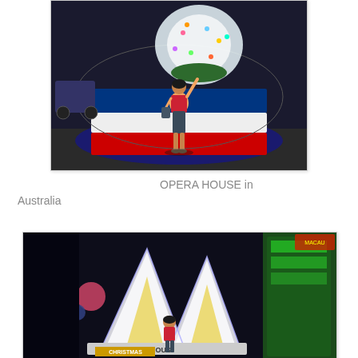[Figure (photo): Woman in red top standing in front of a round display decorated with blue, white, and red horizontal stripes and a white illuminated tree with colorful lights at night.]
OPERA HOUSE in Australia
[Figure (photo): Woman standing in front of an illuminated Opera House replica decoration at night, with 'OPERA HOUSE' text visible on the structure and 'CHRISTMAS' partially visible on a banner. Colorful festival lights in background.]